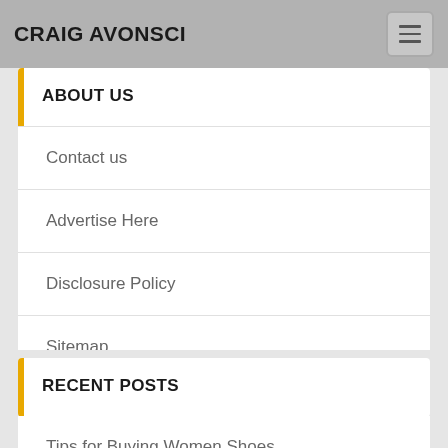CRAIG AVONSCI
ABOUT US
Contact us
Advertise Here
Disclosure Policy
Sitemap
RECENT POSTS
Tips for Buying Women Shoes
How Online Reviews Influence Men's Suits Buying